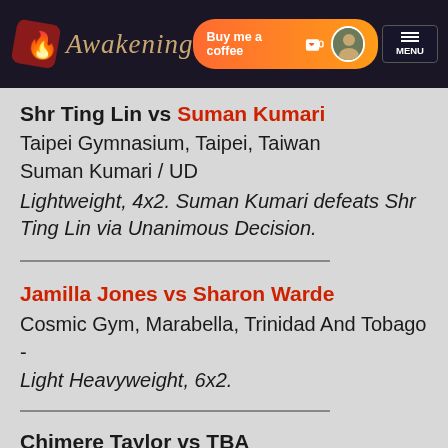Awakening | Buy me a coffee | MENU
Shr Ting Lin vs Suman Kumari
Taipei Gymnasium, Taipei, Taiwan
Suman Kumari / UD
Lightweight, 4x2. Suman Kumari defeats Shr Ting Lin via Unanimous Decision.
Jamilla Jones vs Sharon Warde
Cosmic Gym, Marabella, Trinidad And Tobago
-
Light Heavyweight, 6x2.
Chimere Taylor vs TBA